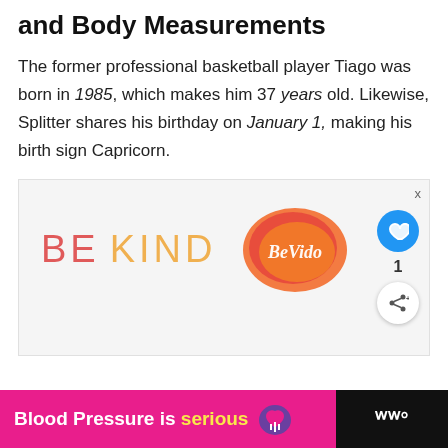and Body Measurements
The former professional basketball player Tiago was born in 1985, which makes him 37 years old. Likewise, Splitter shares his birthday on January 1, making his birth sign Capricorn.
[Figure (infographic): Advertisement banner with 'BE KIND' text in red and gold colors, with a decorative Be Vudo logo on the right side and an X close button.]
[Figure (infographic): Bottom advertisement bar: pink section with 'Blood Pressure is serious' text and a heart/lollipop icon, dark section with WW logo.]